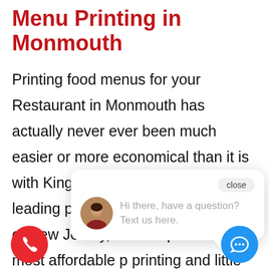Menu Printing in Monmouth
Printing food menus for your Restaurant in Monmouth has actually never ever been much easier or more economical than it is with King Kong Printing. We are the leading printing company in the state of New Jersey, and we provide the most affordable p printing and little batch d establishment or a large order for an blished restaurant, we can print th for you quickly and economically. We
[Figure (screenshot): Chat widget overlay with close button, avatar photo of a woman, and message text 'Hi there, have a question? Text us here.']
[Figure (illustration): Red circular phone call button in bottom left corner]
[Figure (illustration): Blue circular chat button in bottom right corner]